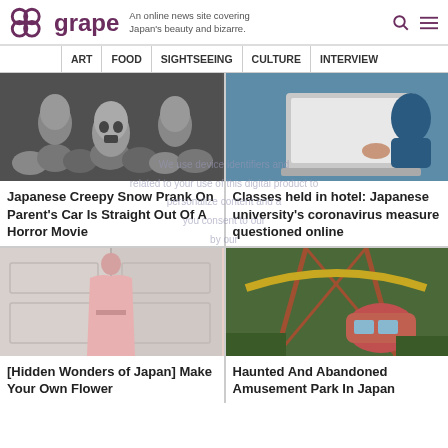grape – An online news site covering Japan's beauty and bizarre.
ART  FOOD  SIGHTSEEING  CULTURE  INTERVIEW
[Figure (photo): Black and white photo of multiple sculpted human heads/faces lying on a surface]
Japanese Creepy Snow Prank On Parent's Car Is Straight Out Of A Horror Movie
[Figure (photo): Person using a laptop while wearing headphones, blue clothing]
Classes held in hotel: Japanese university's coronavirus measure questioned online
[Figure (photo): Person in a pale pink coat or dress standing in front of white doors]
[Hidden Wonders of Japan] Make Your Own Flower
[Figure (photo): Rusted, abandoned amusement park ride structure with a gondola car, overgrown with vegetation]
Haunted And Abandoned Amusement Park In Japan